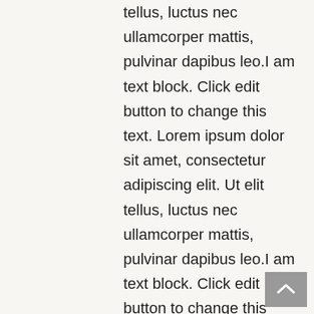tellus, luctus nec ullamcorper mattis, pulvinar dapibus leo.I am text block. Click edit button to change this text. Lorem ipsum dolor sit amet, consectetur adipiscing elit. Ut elit tellus, luctus nec ullamcorper mattis, pulvinar dapibus leo.I am text block. Click edit button to change this text. Lorem ipsum dolor sit amet, consectetur adipiscing elit. Ut elit tellus, luctus nec ullamcorper mattis, pulvinar dapibus leo.I am text block. Click edit button to change this text. Lorem ipsum dolor sit amet, consectetur adipiscing elit. Ut elit tellus, luctus